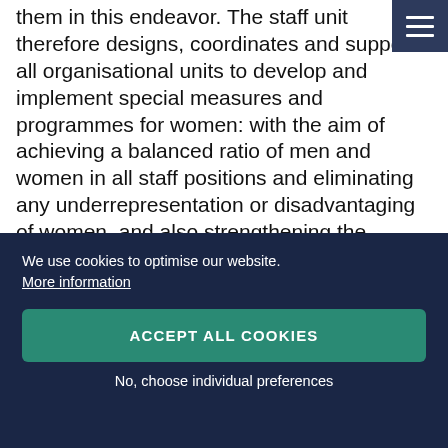them in this endeavor. The staff unit therefore designs, coordinates and supports all organisational units to develop and implement special measures and programmes for women: with the aim of achieving a balanced ratio of men and women in all staff positions and eliminating any underrepresentation or disadvantaging of women, and also strengthening the professional status of women in science.
Gender-specific research and
We use cookies to optimise our website.
More information
ACCEPT ALL COOKIES
No, choose individual preferences